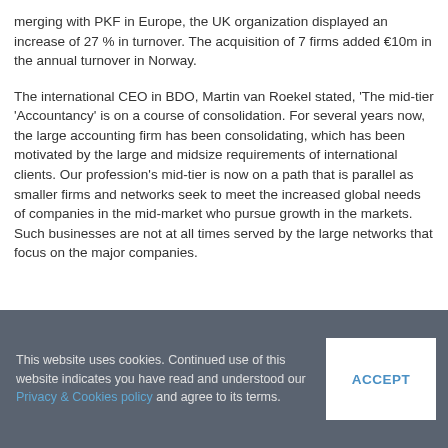merging with PKF in Europe, the UK organization displayed an increase of 27 % in turnover. The acquisition of 7 firms added €10m in the annual turnover in Norway.
The international CEO in BDO, Martin van Roekel stated, 'The mid-tier 'Accountancy' is on a course of consolidation. For several years now, the large accounting firm has been consolidating, which has been motivated by the large and midsize requirements of international clients. Our profession's mid-tier is now on a path that is parallel as smaller firms and networks seek to meet the increased global needs of companies in the mid-market who pursue growth in the markets. Such businesses are not at all times served by the large networks that focus on the major companies.
This website uses cookies. Continued use of this website indicates you have read and understood our Privacy & Cookies policy and agree to its terms. ACCEPT